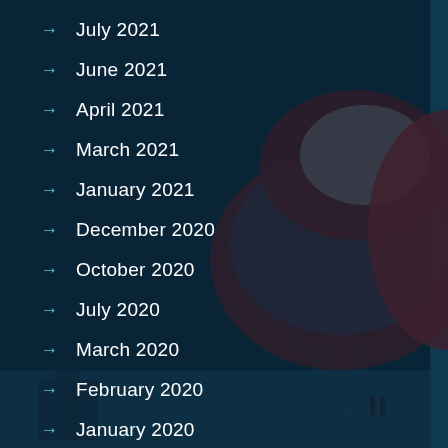July 2021
June 2021
April 2021
March 2021
January 2021
December 2020
October 2020
July 2020
March 2020
February 2020
January 2020